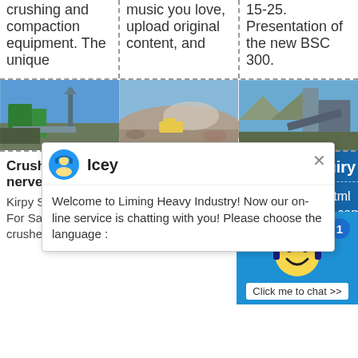crushing and compaction equipment. The unique
music you love, upload original content, and
15-25. Presentation of the new BSC 300.
[Figure (photo): Outdoor crushing/quarrying equipment under blue sky]
[Figure (photo): Quarry site with aggregates and machinery]
[Figure (photo): Industrial conveyor or screening equipment outdoors]
Crusher Price - nervensonogra
Kirpy Stone Crusher For Sale. Kirpy stone crushers price usa in
kirby rock crushers in tonga
Get Price. Relate Product. Cassiterite ... Kirpy WX 300
Enquiry
cywaitml@gmail.com
Welcome to Liming Heavy Industry! Now our on-line service is chatting with you! Please choose the language :